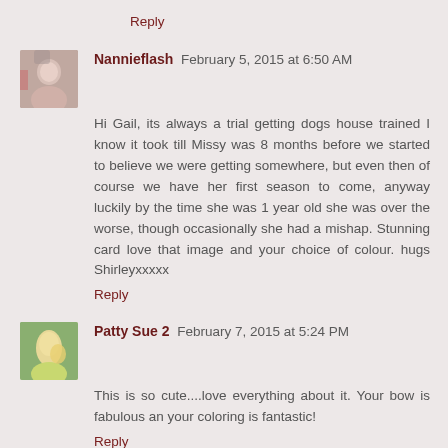Reply
Nannieflash  February 5, 2015 at 6:50 AM
Hi Gail, its always a trial getting dogs house trained I know it took till Missy was 8 months before we started to believe we were getting somewhere, but even then of course we have her first season to come, anyway luckily by the time she was 1 year old she was over the worse, though occasionally she had a mishap. Stunning card love that image and your choice of colour. hugs Shirleyxxxxx
Reply
Patty Sue 2  February 7, 2015 at 5:24 PM
This is so cute....love everything about it. Your bow is fabulous an your coloring is fantastic!
Reply